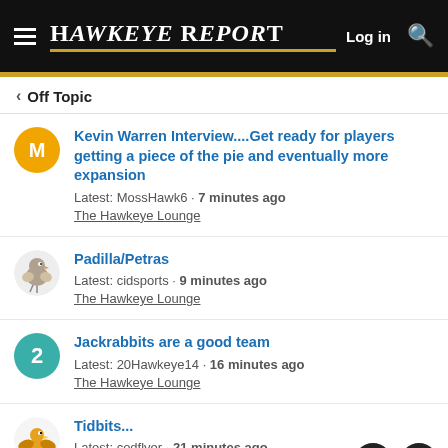Hawkeye Report — Log in
< Off Topic
Kevin Warren Interview....Get ready for players getting a piece of the pie and eventually more expansion
Latest: MossHawk6 · 7 minutes ago
The Hawkeye Lounge
Padilla/Petras
Latest: cidsports · 9 minutes ago
The Hawkeye Lounge
Jackrabbits are a good team
Latest: 20Hawkeye14 · 16 minutes ago
The Hawkeye Lounge
Tidbits...
Latest: codflyer · 21 minutes ago
The Hawkeye Lounge